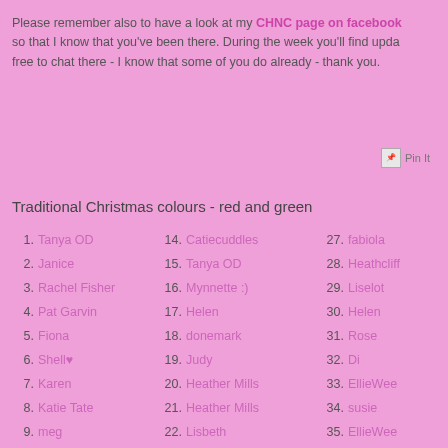Please remember also to have a look at my CHNC page on facebook so that I know that you've been there. During the week you'll find updates free to chat there - I know that some of you do already - thank you.
[Figure (other): Pin It button image]
Traditional Christmas colours - red and green
1. Tanya OD
2. Janice
3. Rachel Fisher
4. Pat Garvin
5. Fiona
6. Shell♥
7. Karen
8. Katie Tate
9. meg
14. Catiecuddles
15. Tanya OD
16. Mynnette :)
17. Helen
18. donemark
19. Judy
20. Heather Mills
21. Heather Mills
22. Lisbeth
27. fabiola
28. Heathcliff
29. Liselot
30. Helen
31. Rose
32. Di
33. EllieWee
34. susie
35. EllieWee